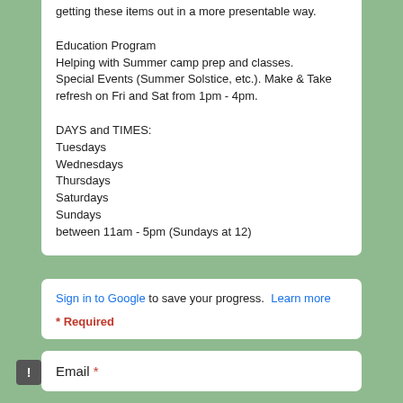getting these items out in a more presentable way.

Education Program
Helping with Summer camp prep and classes.
Special Events (Summer Solstice, etc.). Make & Take refresh on Fri and Sat from 1pm - 4pm.

DAYS and TIMES:
Tuesdays
Wednesdays
Thursdays
Saturdays
Sundays
between 11am - 5pm (Sundays at 12)
Sign in to Google to save your progress. Learn more
* Required
Email *